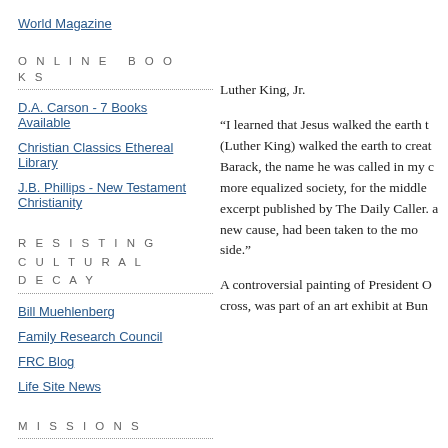World Magazine
ONLINE BOOKS
D.A. Carson - 7 Books Available
Christian Classics Ethereal Library
J.B. Phillips - New Testament Christianity
RESISTING CULTURAL DECAY
Bill Muehlenberg
Family Research Council
FRC Blog
Life Site News
MISSIONS
Luther King, Jr.
“I learned that Jesus walked the earth to (Luther King) walked the earth to creat Barack, the name he was called in my c more equalized society, for the middle excerpt published by The Daily Caller. a new cause, had been taken to the mo side.”
A controversial painting of President O cross, was part of an art exhibit at Bun